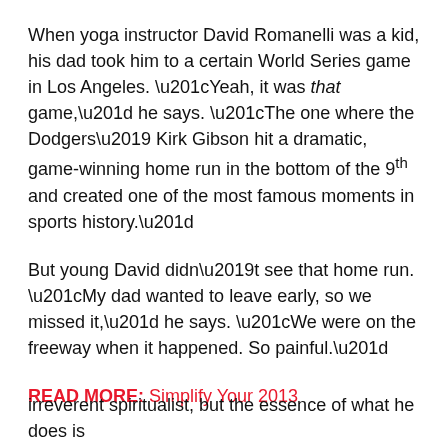When yoga instructor David Romanelli was a kid, his dad took him to a certain World Series game in Los Angeles. “Yeah, it was that game,” he says. “The one where the Dodgers’ Kirk Gibson hit a dramatic, game-winning home run in the bottom of the 9th and created one of the most famous moments in sports history.”
But young David didn’t see that home run. “My dad wanted to leave early, so we missed it,” he says. “We were on the freeway when it happened. So painful.”
READ MORE: Simplify Your 2013
irreverent spiritualist, but the essence of what he does is